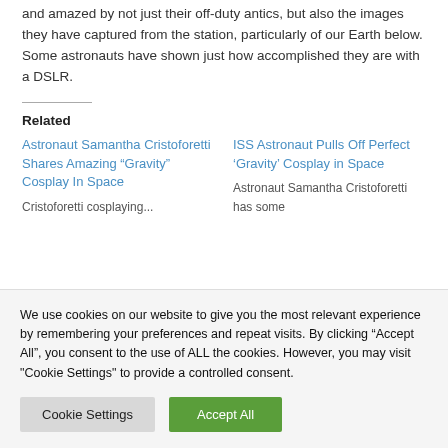and amazed by not just their off-duty antics, but also the images they have captured from the station, particularly of our Earth below. Some astronauts have shown just how accomplished they are with a DSLR.
Related
Astronaut Samantha Cristoforetti Shares Amazing “Gravity” Cosplay In Space
Cristoforetti cosplaying...
ISS Astronaut Pulls Off Perfect ‘Gravity’ Cosplay in Space
Astronaut Samantha Cristoforetti has some
We use cookies on our website to give you the most relevant experience by remembering your preferences and repeat visits. By clicking “Accept All”, you consent to the use of ALL the cookies. However, you may visit "Cookie Settings" to provide a controlled consent.